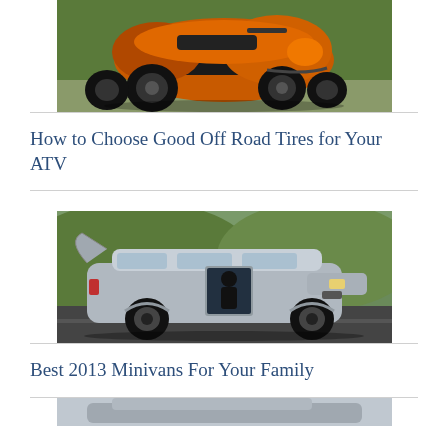[Figure (photo): Orange and black ATV/quad bike photographed from front-right angle on pavement with green grass background]
How to Choose Good Off Road Tires for Your ATV
[Figure (photo): Silver Honda Odyssey minivan with sliding door open, driving on road with green hills in background]
Best 2013 Minivans For Your Family
[Figure (photo): Partial view of another vehicle, cropped at bottom of page]